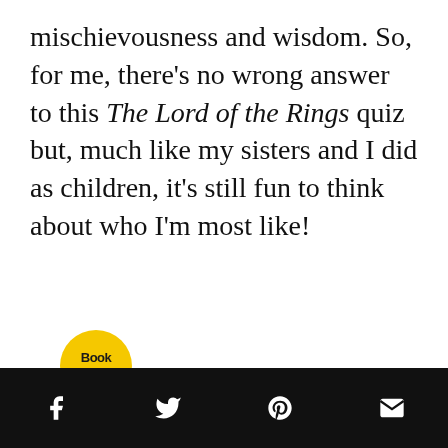mischievousness and wisdom. So, for me, there’s no wrong answer to this The Lord of the Rings quiz but, much like my sisters and I did as children, it’s still fun to think about who I’m most like!
[Figure (logo): Book Riot logo: yellow circle with 'Book Riot' text in bold dark lettering]
Social share icons: Facebook, Twitter, Pinterest, Email